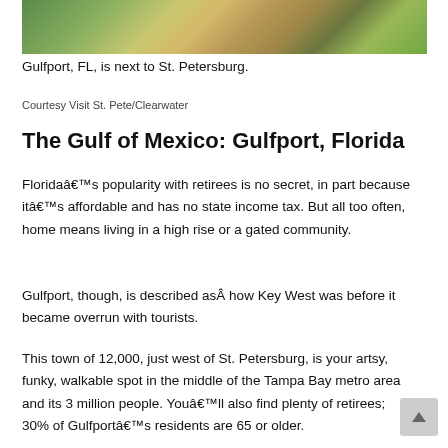[Figure (photo): Outdoor garden path with brick pavers, mulched planting beds, and tropical greenery in Gulfport, FL]
Gulfport, FL, is next to St. Petersburg.
Courtesy Visit St. Pete/Clearwater
The Gulf of Mexico: Gulfport, Florida
Floridaâs popularity with retirees is no secret, in part because itâs affordable and has no state income tax. But all too often, home means living in a high rise or a gated community.
Gulfport, though, is described asÂ how Key West was before it became overrun with tourists.
This town of 12,000, just west of St. Petersburg, is your artsy, funky, walkable spot in the middle of the Tampa Bay metro area and its 3 million people. Youâll also find plenty of retirees; 30% of Gulfportâs residents are 65 or older.